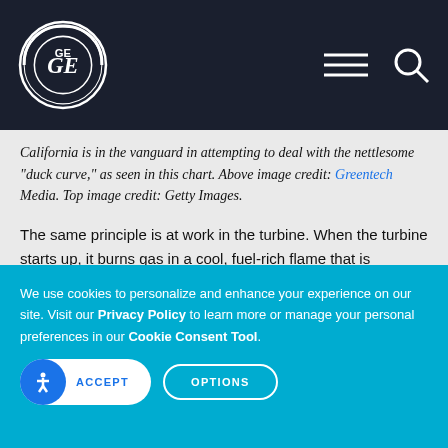GE — navigation bar with logo, menu and search icons
California is in the vanguard in attempting to deal with the nettlesome "duck curve," as seen in this chart. Above image credit: Greentech Media. Top image credit: Getty Images.
The same principle is at work in the turbine. When the turbine starts up, it burns gas in a cool, fuel-rich flame that is relatively inefficient and yields relatively high emissions of the toxic carbon monoxide (CO) gas. AES
We use cookies to personalize and enhance your experience on our site. Visit our Privacy Policy to learn more or manage your personal preferences in our Cookie Consent Tool.